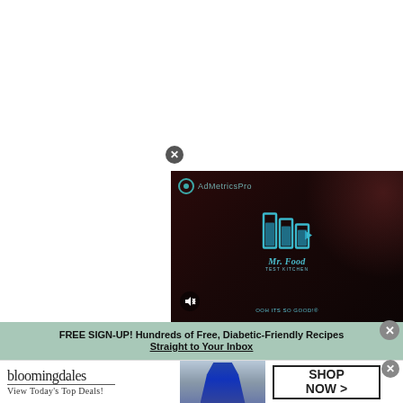[Figure (screenshot): Video advertisement overlay showing AdMetricsPro watermark, play button with blue bar chart logo, Mr. Food Test Kitchen branding, mute icon, and dark reddish background with hands visible]
FREE SIGN-UP! Hundreds of Free, Diabetic-Friendly Recipes Straight to Your Inbox
[Figure (screenshot): Bloomingdales advertisement banner showing bloomingdales logo with 'View Today's Top Deals!' text, a woman in a blue hat, and a 'SHOP NOW >' button]